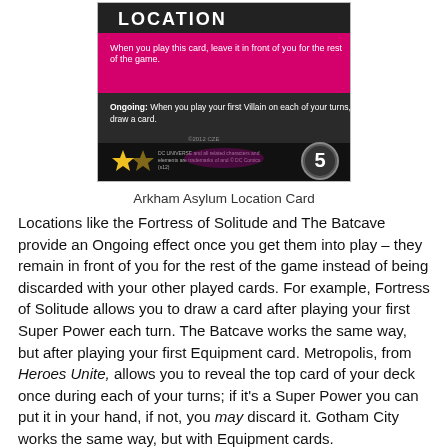[Figure (illustration): Arkham Asylum Location Card from DC Comics card game. Shows a card with LOCATION header, pink/magenta background, ongoing ability text, star rating, and cost circle with number 5.]
Arkham Asylum Location Card
Locations like the Fortress of Solitude and The Batcave provide an Ongoing effect once you get them into play – they remain in front of you for the rest of the game instead of being discarded with your other played cards. For example, Fortress of Solitude allows you to draw a card after playing your first Super Power each turn. The Batcave works the same way, but after playing your first Equipment card. Metropolis, from Heroes Unite, allows you to reveal the top card of your deck once during each of your turns; if it's a Super Power you can put it in your hand, if not, you may discard it. Gotham City works the same way, but with Equipment cards.